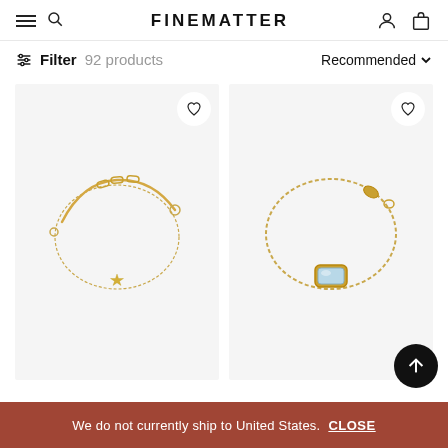FINEMATTER
Filter  92 products    Recommended
[Figure (photo): Gold chain bracelet with small star diamond charm on light grey background, with heart wishlist button in top right corner]
[Figure (photo): Gold box chain bracelet with rectangular light blue mother-of-pearl stone pendant on light grey background, with heart wishlist button in top right corner]
We do not currently ship to United States.  CLOSE